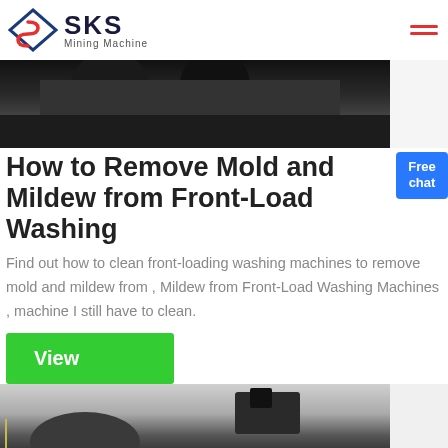[Figure (logo): SKS Mining Machine logo with diamond/arrow icon in blue and red]
[Figure (photo): Industrial mining machinery viewed from above, dark metal components]
How to Remove Mold and Mildew from Front-Load Washing
Find out how to clean front-loading washing machines to remove mold and mildew from , Mildew from Front-Load Washing Machines , machine I still have to clean.
[Figure (other): Free chat button, blue rounded rectangle]
View
[Figure (photo): Industrial machinery with motor and drum components, grey tones]